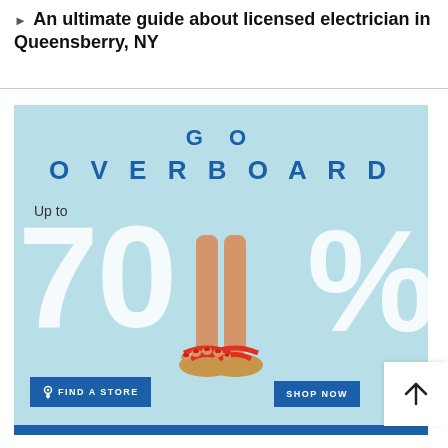An ultimate guide about licensed electrician in Queensberry, NY
[Figure (illustration): GO OVERBOARD advertisement banner. Light blue background. Large bold blue text: 'GO OVERBOARD'. Text: 'Up to'. Large white text: '70%'. Image of sandal/flip flop feet. Two buttons: 'FIND A STORE' and 'SHOP NOW'. Blue bar at bottom.]